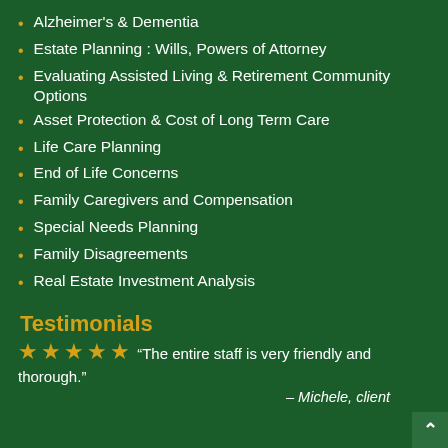Alzheimer's & Dementia
Estate Planning : Wills, Powers of Attorney
Evaluating Assisted Living & Retirement Community Options
Asset Protection & Cost of Long Term Care
Life Care Planning
End of Life Concerns
Family Caregivers and Compensation
Special Needs Planning
Family Disagreements
Real Estate Investment Analysis
Testimonials
★★★★★ “The entire staff is very friendly and thorough.”
– Michele, client